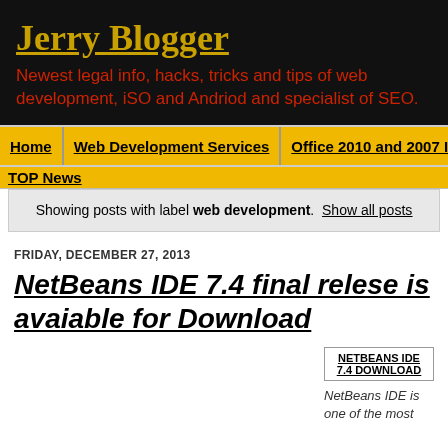Jerry Blogger
Newest legal info, hacks, tricks and tips of web development, iSO and Andriod and specialist of SEO.
Home | Web Development Services | Office 2010 and 2007 Index
TOP News
Showing posts with label web development. Show all posts
FRIDAY, DECEMBER 27, 2013
NetBeans IDE 7.4 final relese is avaiable for Download
NETBEANS IDE 7.4 DOWNLOAD
NetBeans IDE is one of the most